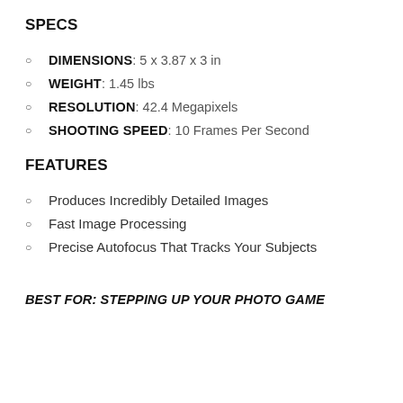SPECS
DIMENSIONS: 5 x 3.87 x 3 in
WEIGHT: 1.45 lbs
RESOLUTION: 42.4 Megapixels
SHOOTING SPEED: 10 Frames Per Second
FEATURES
Produces Incredibly Detailed Images
Fast Image Processing
Precise Autofocus That Tracks Your Subjects
BEST FOR: STEPPING UP YOUR PHOTO GAME